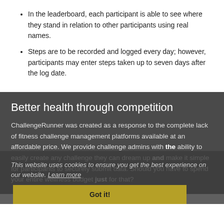In the leaderboard, each participant is able to see where they stand in relation to other participants using real names.
Steps are to be recorded and logged every day; however, participants may enter steps taken up to seven days after the log date.
Better health through competition
ChallengeRunner was created as a response to the complete lack of fitness challenge management platforms available at an affordable price. We provide challenge admins with the ability to easily create any challenge they can dream up and make it simple for participants to securely submit data. Should you have to spend your entire wellness budget just for that?
This website uses cookies to ensure you get the best experience on our website. Learn more
Got it!